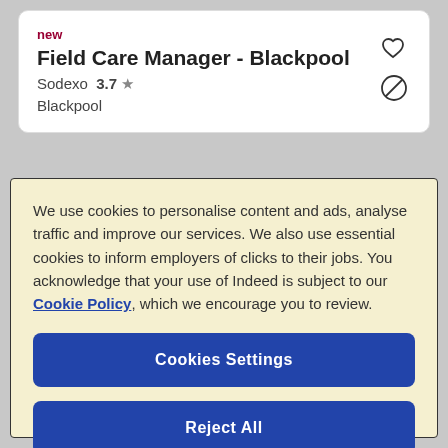new
Field Care Manager - Blackpool
Sodexo  3.7 ★
Blackpool
We use cookies to personalise content and ads, analyse traffic and improve our services. We also use essential cookies to inform employers of clicks to their jobs. You acknowledge that your use of Indeed is subject to our Cookie Policy, which we encourage you to review.
Cookies Settings
Reject All
Accept All Cookies